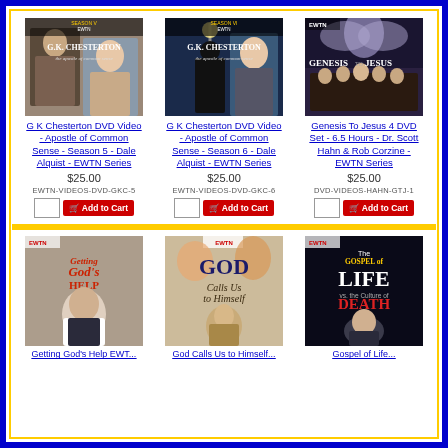[Figure (illustration): G K Chesterton DVD Video - Apostle of Common Sense Season 5 product image showing EWTN Season V cover with Dale Alquist]
G K Chesterton DVD Video - Apostle of Common Sense - Season 5 - Dale Alquist - EWTN Series
$25.00
EWTN-VIDEOS-DVD-GKC-5
[Figure (illustration): G K Chesterton DVD Video - Apostle of Common Sense Season 6 product image showing EWTN Season VI cover with Dale Alquist]
G K Chesterton DVD Video - Apostle of Common Sense - Season 6 - Dale Alquist - EWTN Series
$25.00
EWTN-VIDEOS-DVD-GKC-6
[Figure (illustration): Genesis To Jesus 4 DVD Set product image showing EWTN cover with biblical imagery]
Genesis To Jesus 4 DVD Set - 6.5 Hours - Dr. Scott Hahn & Rob Corzine - EWTN Series
$25.00
DVD-VIDEOS-HAHN-GTJ-1
[Figure (illustration): Getting God's Help EWTN DVD product image showing elderly priest]
[Figure (illustration): God Calls Us to Himself EWTN DVD product image with religious artwork]
[Figure (illustration): The Gospel of Life vs. the Culture of Death EWTN DVD product image showing young priest]
Getting God's Help EWTN...
God Calls Us to Himself...
Gospel of Life...